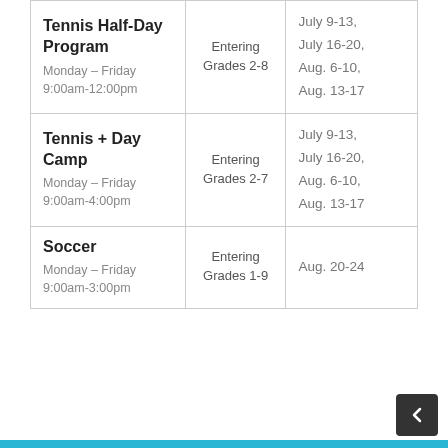| Program | Grades | Dates |
| --- | --- | --- |
| Tennis Half-Day Program
Monday – Friday
9:00am-12:00pm | Entering Grades 2-8 | July 9-13,
July 16-20,
Aug. 6-10,
Aug. 13-17 |
| Tennis + Day Camp
Monday – Friday
9:00am-4:00pm | Entering Grades 2-7 | July 9-13,
July 16-20,
Aug. 6-10,
Aug. 13-17 |
| Soccer
Monday – Friday
9:00am-3:00pm | Entering Grades 1-9 | Aug. 20-24 |